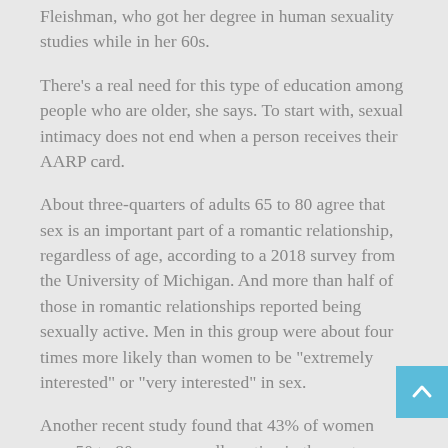Fleishman, who got her degree in human sexuality studies while in her 60s.
There’s a real need for this type of education among people who are older, she says. To start with, sexual intimacy does not end when a person receives their AARP card.
About three-quarters of adults 65 to 80 agree that sex is an important part of a romantic relationship, regardless of age, according to a 2018 survey from the University of Michigan. And more than half of those in romantic relationships reported being sexually active. Men in this group were about four times more likely than women to be “extremely interested” or “very interested” in sex.
Another recent study found that 43% of women ages 50 to 80 were sexually active in the past